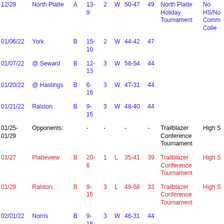| Date | Opponent | Class | Record | Game | W/L | Score | Pts | Tournament | Site |
| --- | --- | --- | --- | --- | --- | --- | --- | --- | --- |
| 12/29 | North Platte | A | 13-9 | 2 | W | 50-47 | 49 | North Platte Holiday Tournament | North Platte HS/North Platte Community College |
| 01/06/22 | York | B | 15-10 | 2 | W | 44-42 | 47 |  |  |
| 01/07/22 | @ Seward | B | 12-13 | 3 | W | 58-54 | 44 |  |  |
| 01/20/22 | @ Hastings | B | 6-16 | 3 | W | 47-31 | 44 |  |  |
| 01/21/22 | Ralston | B | 9-15 | 3 | W | 48-40 | 44 |  |  |
| 01/25-01/29 | Opponents: |  | - | - |  | - | - | Trailblazer Conference Tournament | High S |
| 01/27 | Platteview | B | 20-6 | 1 | L | 35-41 | 39 | Trailblazer Conference Tournament | High S |
| 01/29 | Ralston | B | 9-15 | 3 | L | 49-58 | 33 | Trailblazer Conference Tournament | High S |
| 02/01/22 | Norris | B | 9-16 | 3 | W | 46-31 | 44 |  |  |
| 02/05/22 | Wahoo | C1 | 23-2 | 1 | L | 42-56 | 39 |  |  |
| 02/11/22 | @ Northwest | B | 8-17 | 3 | W | 49-40 | 44 |  |  |
| 02/14/22 | Plattsmouth | B | 8-15 | 3 | W | 55-42 | 44 |  |  |
| 02/17/22 | @ Waverly | B | 16- | 3 | W | 44-41 | 47 |  |  |